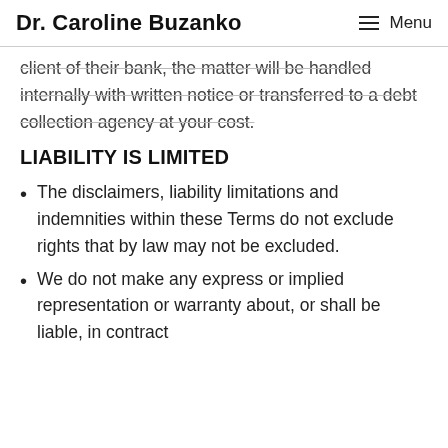Dr. Caroline Buzanko  Menu
client of their bank, the matter will be handled internally with written notice or transferred to a debt collection agency at your cost.
LIABILITY IS LIMITED
The disclaimers, liability limitations and indemnities within these Terms do not exclude rights that by law may not be excluded.
We do not make any express or implied representation or warranty about, or shall be liable, in contract